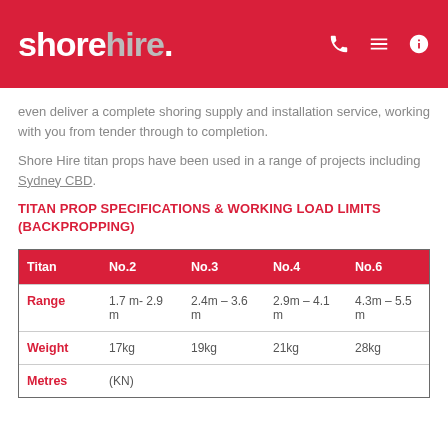shorehire.
even deliver a complete shoring supply and installation service, working with you from tender through to completion.
Shore Hire titan props have been used in a range of projects including Sydney CBD.
TITAN PROP SPECIFICATIONS & WORKING LOAD LIMITS (BACKPROPPING)
| Titan | No.2 | No.3 | No.4 | No.6 |
| --- | --- | --- | --- | --- |
| Range | 1.7 m- 2.9 m | 2.4m – 3.6 m | 2.9m – 4.1 m | 4.3m – 5.5 m |
| Weight | 17kg | 19kg | 21kg | 28kg |
| Metres | (KN) |  |  |  |